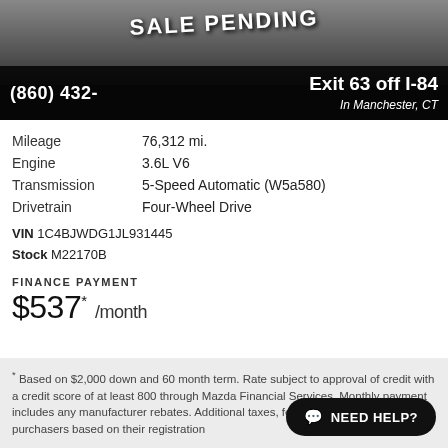[Figure (photo): Car photo banner with SALE PENDING text overlay, phone number (860) 432-, and Exit 63 off I-84 In Manchester, CT]
| Mileage | 76,312 mi. |
| Engine | 3.6L V6 |
| Transmission | 5-Speed Automatic (W5a580) |
| Drivetrain | Four-Wheel Drive |
VIN 1C4BJWDG1JL931445
Stock M22170B
FINANCE PAYMENT
$537* /month
* Based on $2,000 down and 60 month term. Rate subject to approval of credit with a credit score of at least 800 through Mazda Financial Services. Monthly payment includes any manufacturer rebates. Additional taxes, fees may apply for out of state purchasers based on their registration